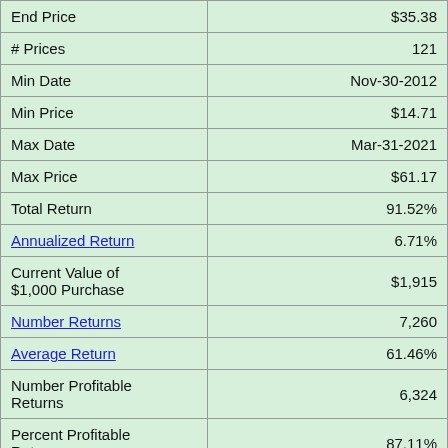| Metric | Value |
| --- | --- |
| End Price | $35.38 |
| # Prices | 121 |
| Min Date | Nov-30-2012 |
| Min Price | $14.71 |
| Max Date | Mar-31-2021 |
| Max Price | $61.17 |
| Total Return | 91.52% |
| Annualized Return | 6.71% |
| Current Value of $1,000 Purchase | $1,915 |
| Number Returns | 7,260 |
| Average Return | 61.46% |
| Number Profitable Returns | 6,324 |
| Percent Profitable Returns | 87.11% |